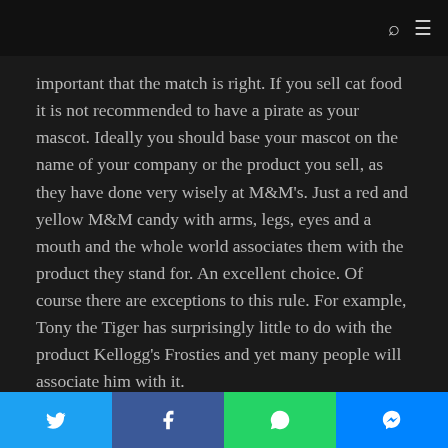important that the match is right. If you sell cat food it is not recommended to have a pirate as your mascot. Ideally you should base your mascot on the name of your company or the product you sell, as they have done very wisely at M&M's. Just a red and yellow M&M candy with arms, legs, eyes and a mouth and the whole world associates them with the product they stand for. An excellent choice. Of course there are exceptions to this rule. For example, Tony the Tiger has surprisingly little to do with the product Kellogg's Frosties and yet many people will associate him with it.
Simplicity
The word 'simplicity' often has a bit of a negative connotation, but it's something you'll definitely have to take into account
Twitter | Facebook | WhatsApp | Messenger